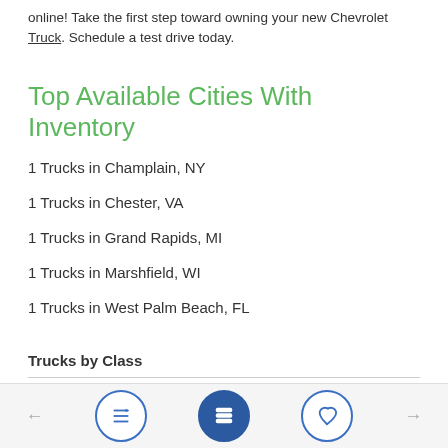online! Take the first step toward owning your new Chevrolet Truck. Schedule a test drive today.
Top Available Cities With Inventory
1 Trucks in Champlain, NY
1 Trucks in Chester, VA
1 Trucks in Grand Rapids, MI
1 Trucks in Marshfield, WI
1 Trucks in West Palm Beach, FL
Trucks by Class
CLASS 7 (GVW 26001 - 33000) (1)
CLASS 8 (GVW 33001 - 150000) (4)